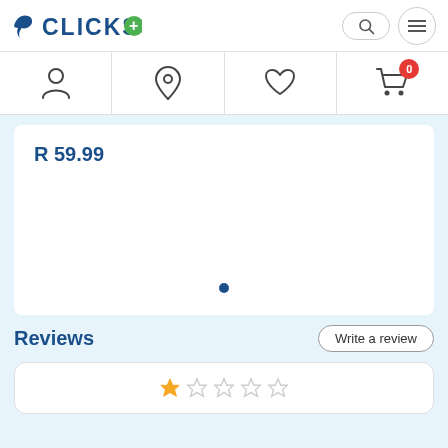CLICKS
R 59.99
Reviews
Write a review
[Figure (other): 1-star rating display with 5 stars, first star filled gold, rest empty]